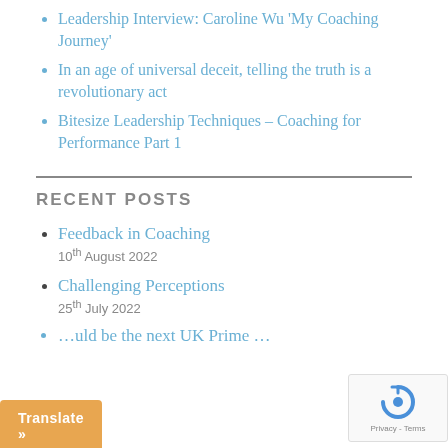Leadership Interview: Caroline Wu 'My Coaching Journey'
In an age of universal deceit, telling the truth is a revolutionary act
Bitesize Leadership Techniques – Coaching for Performance Part 1
RECENT POSTS
Feedback in Coaching
10th August 2022
Challenging Perceptions
25th July 2022
…uld be the next UK Prime …